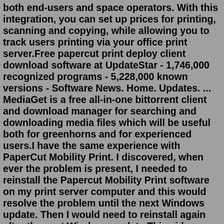both end-users and space operators. With this integration, you can set up prices for printing, scanning and copying, while allowing you to track users printing via your office print server.Free papercut print deploy client download software at UpdateStar - 1,746,000 recognized programs - 5,228,000 known versions - Software News. Home. Updates. ... MediaGet is a free all-in-one bittorrent client and download manager for searching and downloading media files which will be useful both for greenhorns and for experienced users.I have the same experience with PaperCut Mobility Print. I discovered, when ever the problem is present, I needed to reinstall the Papercut Mobility Print software on my print server computer and this would resolve the problem until the next Windows update. Then I would need to reinstall again after the next Windows update.This video walks you through setting up PaperCut client for multiple users on Mac. Learn more about the client over here: https://www.papercut.com/products/p... Download the